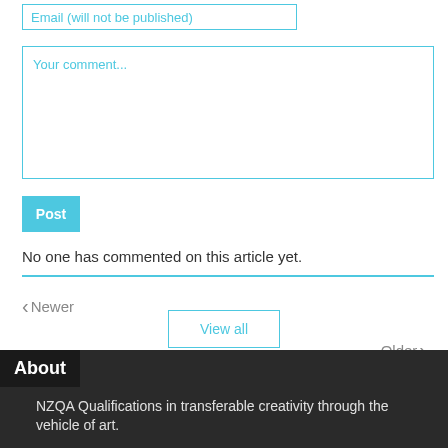Email (will not be published)
Your comment...
Post
No one has commented on this article yet.
< Newer
View all
Older >
About
NZQA Qualifications in transferable creativity through the vehicle of art.